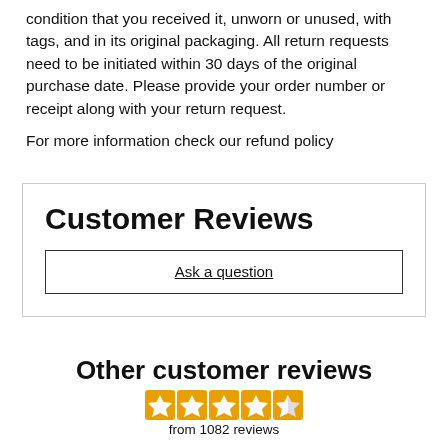condition that you received it, unworn or unused, with tags, and in its original packaging. All return requests need to be initiated within 30 days of the original purchase date. Please provide your order number or receipt along with your return request.
For more information check our refund policy
Customer Reviews
Ask a question
Other customer reviews
from 1082 reviews